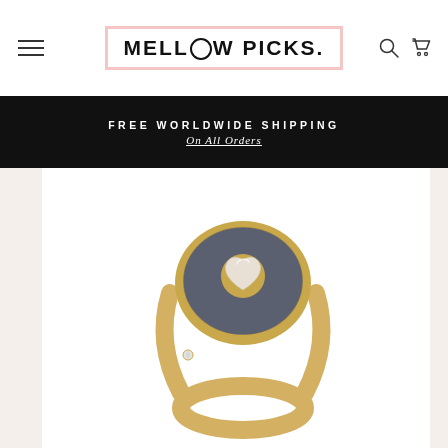MELLOW PICKS.
FREE WORLDWIDE SHIPPING
On All Orders
[Figure (photo): A gold signet ring with a dark grey/charcoal circular enamel face featuring a heart-shaped crystal/diamond center stone, with a small diamond accent on the band, photographed on a white background.]